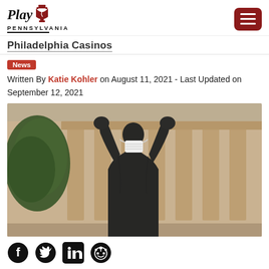Play Pennsylvania
Philadelphia Casinos
News
Written By Katie Kohler on August 11, 2021 - Last Updated on September 12, 2021
[Figure (photo): Rocky statue from behind with arms raised triumphantly, wearing a white medical face mask, with a classical columned building in the background]
[Figure (other): Social media icons: Facebook, Twitter, LinkedIn, Reddit]